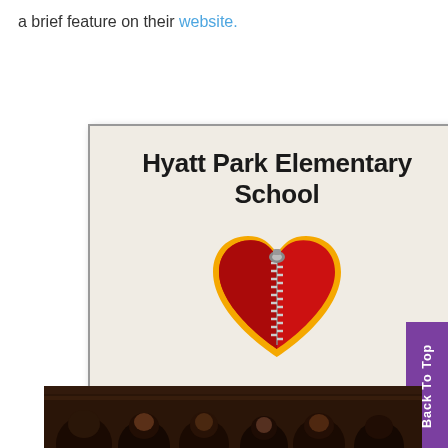a brief feature on their website.
[Figure (illustration): Hyatt Park Elementary School card with a red zipper heart logo and text 'Eli Benjamin Bear!']
Back To Top
[Figure (photo): Children in a library or classroom, looking upward]